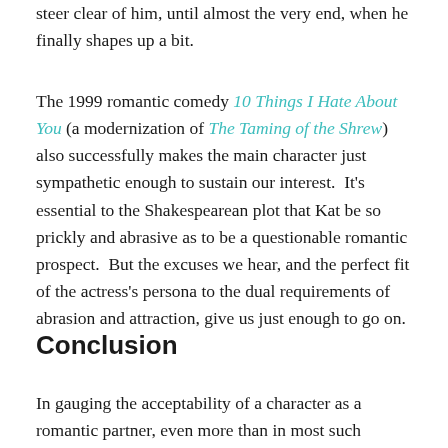steer clear of him, until almost the very end, when he finally shapes up a bit.
The 1999 romantic comedy 10 Things I Hate About You (a modernization of The Taming of the Shrew) also successfully makes the main character just sympathetic enough to sustain our interest. It's essential to the Shakespearean plot that Kat be so prickly and abrasive as to be a questionable romantic prospect. But the excuses we hear, and the perfect fit of the actress's persona to the dual requirements of abrasion and attraction, give us just enough to go on.
Conclusion
In gauging the acceptability of a character as a romantic partner, even more than in most such judgment calls,